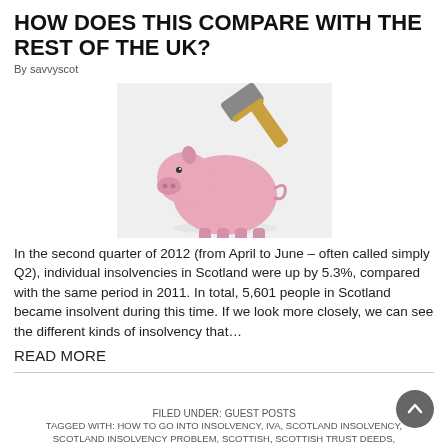HOW DOES THIS COMPARE WITH THE REST OF THE UK?
By savvyscot
[Figure (photo): A pink piggy bank being struck on top by a hammer, on a white background.]
In the second quarter of 2012 (from April to June – often called simply Q2), individual insolvencies in Scotland were up by 5.3%, compared with the same period in 2011. In total, 5,601 people in Scotland became insolvent during this time. If we look more closely, we can see the different kinds of insolvency that…
READ MORE
FILED UNDER: GUEST POSTS
TAGGED WITH: HOW TO GO INTO INSOLVENCY, IVA, SCOTLAND INSOLVENCY, SCOTLAND INSOLVENCY PROBLEM, SCOTTISH, SCOTTISH TRUST DEEDS,